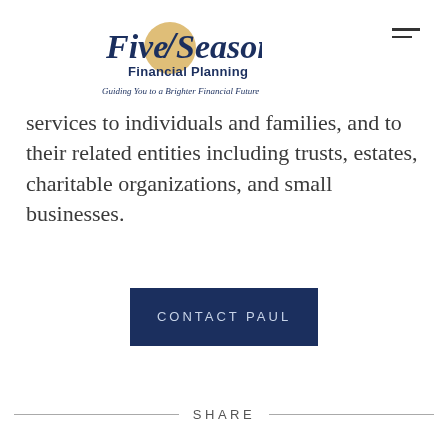[Figure (logo): Five Seasons Financial Planning logo with tagline 'Guiding You to a Brighter Financial Future']
services to individuals and families, and to their related entities including trusts, estates, charitable organizations, and small businesses.
CONTACT PAUL
SHARE